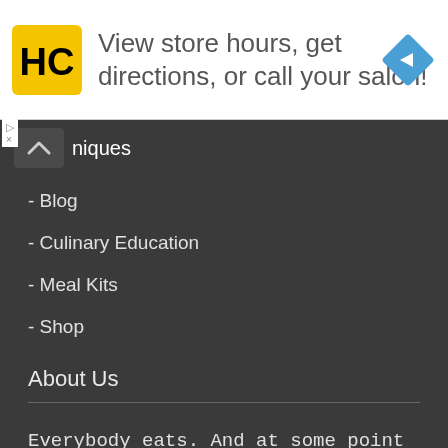[Figure (infographic): HC logo yellow square with black HC text, and blue diamond navigation arrow icon on the right side of an ad banner]
View store hours, get directions, or call your salon!
niques
- Blog
- Culinary Education
- Meal Kits
- Shop
About Us
Everybody eats.  And at some point most of us cook…at least something.  But when I talk with